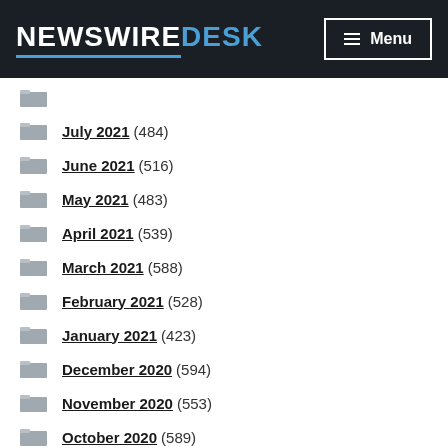NewswireDesk — Menu
July 2021 (484)
June 2021 (516)
May 2021 (483)
April 2021 (539)
March 2021 (588)
February 2021 (528)
January 2021 (423)
December 2020 (594)
November 2020 (553)
October 2020 (589)